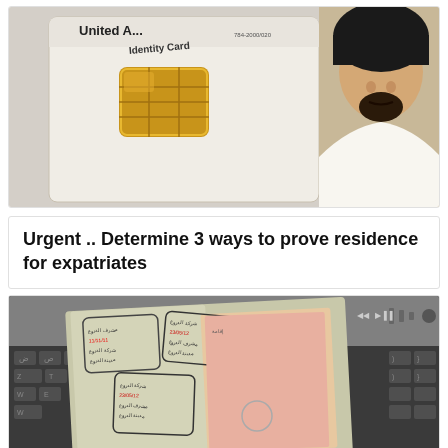[Figure (photo): UAE identity card with gold chip alongside a man in traditional Emirati dress (kandura) smiling and holding the ID card]
Urgent .. Determine 3 ways to prove residence for expatriates
[Figure (photo): Open passport with Arabic entry/exit stamps on pages, placed on a laptop keyboard (MacBook)]
Urgent: Saving some fees imposed on residents when issuing and renewing identity...